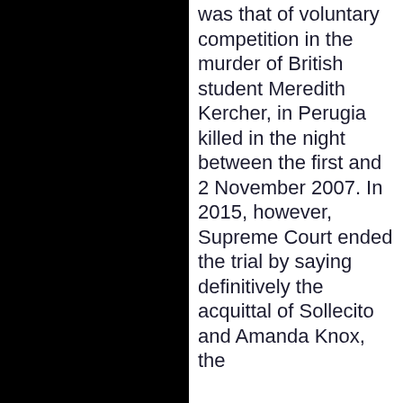was that of voluntary competition in the murder of British student Meredith Kercher, in Perugia killed in the night between the first and 2 November 2007. In 2015, however, Supreme Court ended the trial by saying definitively the acquittal of Sollecito and Amanda Knox, the